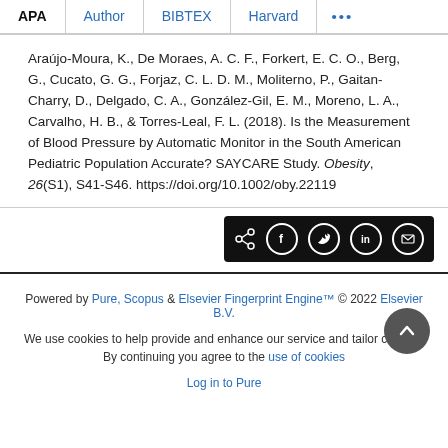APA | Author | BIBTEX | Harvard | ...
Araújo-Moura, K., De Moraes, A. C. F., Forkert, E. C. O., Berg, G., Cucato, G. G., Forjaz, C. L. D. M., Moliterno, P., Gaitan-Charry, D., Delgado, C. A., González-Gil, E. M., Moreno, L. A., Carvalho, H. B., & Torres-Leal, F. L. (2018). Is the Measurement of Blood Pressure by Automatic Monitor in the South American Pediatric Population Accurate? SAYCARE Study. Obesity, 26(S1), S41-S46. https://doi.org/10.1002/oby.22119
[Figure (other): Social share bar with icons for share, Facebook, Twitter, LinkedIn, and email on a black background]
Powered by Pure, Scopus & Elsevier Fingerprint Engine™ © 2022 Elsevier B.V.
We use cookies to help provide and enhance our service and tailor content. By continuing you agree to the use of cookies
Log in to Pure